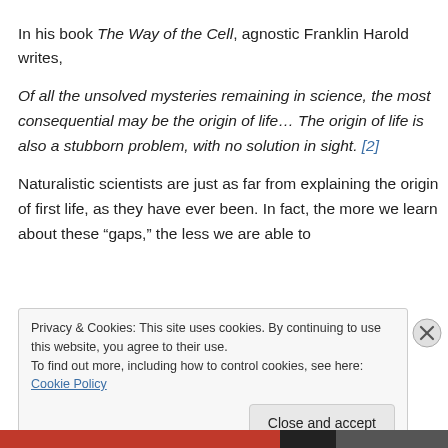In his book The Way of the Cell, agnostic Franklin Harold writes,
Of all the unsolved mysteries remaining in science, the most consequential may be the origin of life… The origin of life is also a stubborn problem, with no solution in sight. [2]
Naturalistic scientists are just as far from explaining the origin of first life, as they have ever been. In fact, the more we learn about these “gaps,” the less we are able to
Privacy & Cookies: This site uses cookies. By continuing to use this website, you agree to their use.
To find out more, including how to control cookies, see here: Cookie Policy
Close and accept